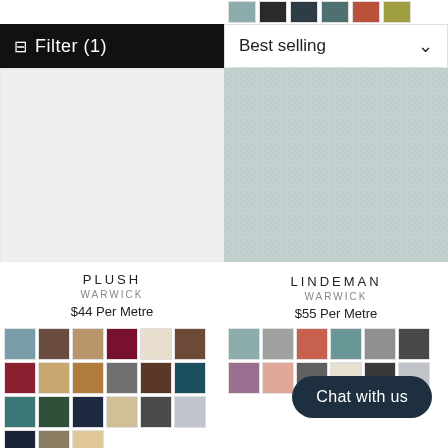[Figure (other): Color swatches row at top right: sage, charcoal, dark navy, teal, burnt orange, olive/yellow-green]
[Figure (other): Filter (1) button in black bar on left]
[Figure (other): Best selling sort dropdown on right]
[Figure (photo): White/light grey plain fabric swatch for PLUSH]
[Figure (photo): Light blue-grey woven textured fabric swatch for LINDEMAN]
PLUSH
WARWICK
$44 Per Metre
LINDEMAN
WARWICK
$55 Per Metre
[Figure (other): Color swatches grid for PLUSH: blues, browns, tans, burgundy, cream, dark brown, dark red, tan, camel, grey, dark brown, teal, teal, dark green, navy, sand, charcoal, silver, dark navy, etc.]
[Figure (other): Color swatches grid for LINDEMAN: sage, grey, coral, teal, grey, dark grey, mauve, peach, dark grey, cream, dark, silver]
Chat with us